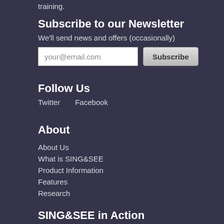training.
Subscribe to our Newsletter
We'll send news and offers (occasionally)
your@email.com  [Subscribe]
Follow Us
Twitter    Facebook
About
About Us
What is SING&SEE
Product Information
Features
Research
SING&SEE in Action
For Singers
For Teachers
Testimonials